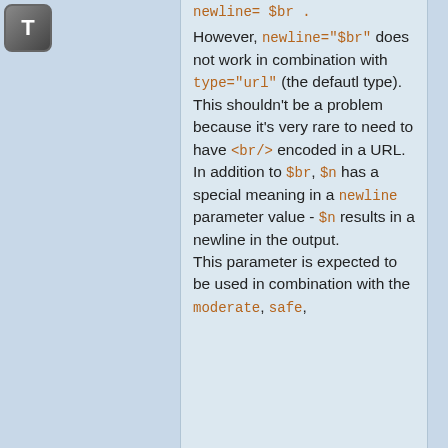[Figure (logo): Gray T icon button in top left corner]
newline= $br . However, newline="$br" does not work in combination with type="url" (the defautl type). This shouldn't be a problem because it's very rare to need to have <br/> encoded in a URL. In addition to $br, $n has a special meaning in a newline parameter value - $n results in a newline in the output. This parameter is expected to be used in combination with the moderate, safe,